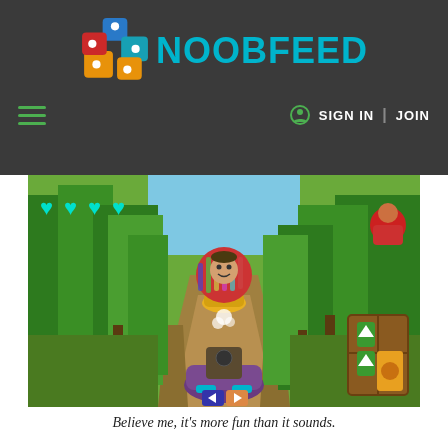NOOBFEED
[Figure (logo): NoobFeed logo with colorful cross/plus icon and teal NOOBFEED text on dark grey background]
[Figure (screenshot): Video game screenshot showing a kart racing scene through a forest path with colorful characters on karts, hearts UI in top-left, green trees on both sides, viewed from behind the player character]
Believe me, it's more fun than it sounds.